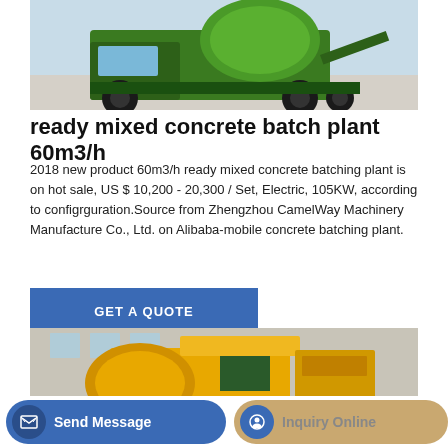[Figure (photo): Green concrete mixer truck (mobile batching plant) partially visible, photographed against a light background with gravel/sand.]
ready mixed concrete batch plant 60m3/h
2018 new product 60m3/h ready mixed concrete batching plant is on hot sale, US $ 10,200 - 20,300 / Set, Electric, 105KW, according to configrguration.Source from Zhengzhou CamelWay Machinery Manufacture Co., Ltd. on Alibaba-mobile concrete batching plant.
GET A QUOTE
[Figure (photo): Yellow concrete mixer / batching equipment photographed indoors in a factory setting, showing the drum, engine and frame.]
Send Message
Inquiry Online